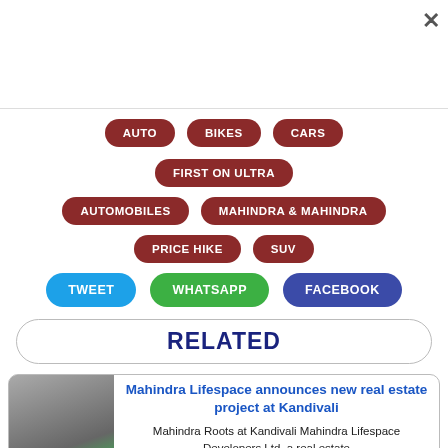AUTO
BIKES
CARS
FIRST ON ULTRA
AUTOMOBILES
MAHINDRA & MAHINDRA
PRICE HIKE
SUV
TWEET
WHATSAPP
FACEBOOK
RELATED
Mahindra Lifespace announces new real estate project at Kandivali
Mahindra Roots at Kandivali Mahindra Lifespace Developers Ltd, a real estate